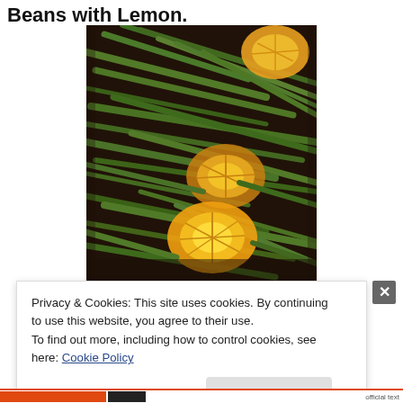Beans with Lemon.
[Figure (photo): Close-up photo of roasted green beans with lemon slices on a dark baking pan.]
Privacy & Cookies: This site uses cookies. By continuing to use this website, you agree to their use.
To find out more, including how to control cookies, see here: Cookie Policy
Close and accept